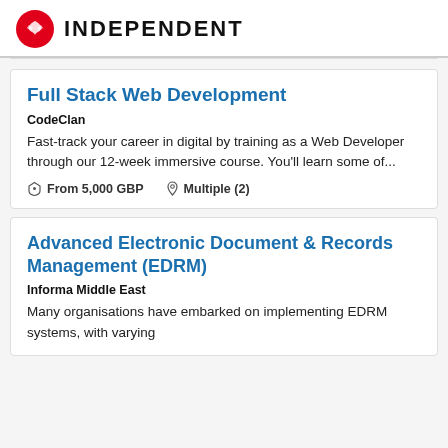INDEPENDENT
Full Stack Web Development
CodeClan
Fast-track your career in digital by training as a Web Developer through our 12-week immersive course. You'll learn some of...
From 5,000 GBP   Multiple (2)
Advanced Electronic Document & Records Management (EDRM)
Informa Middle East
Many organisations have embarked on implementing EDRM systems, with varying